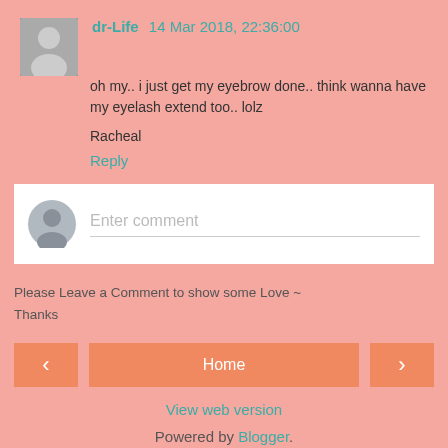dr-Life 14 Mar 2018, 22:36:00
oh my.. i just get my eyebrow done.. think wanna have my eyelash extend too.. lolz
Racheal
Reply
Enter comment
Please Leave a Comment to show some Love ~ Thanks
Home
View web version
Powered by Blogger.